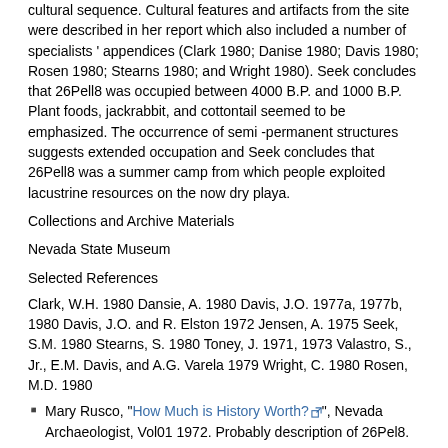cultural sequence. Cultural features and artifacts from the site were described in her report which also included a number of specialists ' appendices (Clark 1980; Danise 1980; Davis 1980; Rosen 1980; Stearns 1980; and Wright 1980). Seek concludes that 26Pell8 was occupied between 4000 B.P. and 1000 B.P. Plant foods, jackrabbit, and cottontail seemed to be emphasized. The occurrence of semi -permanent structures suggests extended occupation and Seek concludes that 26Pell8 was a summer camp from which people exploited lacustrine resources on the now dry playa.
Collections and Archive Materials
Nevada State Museum
Selected References
Clark, W.H. 1980 Dansie, A. 1980 Davis, J.O. 1977a, 1977b, 1980 Davis, J.O. and R. Elston 1972 Jensen, A. 1975 Seek, S.M. 1980 Stearns, S. 1980 Toney, J. 1971, 1973 Valastro, S., Jr., E.M. Davis, and A.G. Varela 1979 Wright, C. 1980 Rosen, M.D. 1980
Mary Rusco, "How Much is History Worth?", Nevada Archaeologist, Vol01 1972. Probably description of 26Pel8.
nbmg.unr.edu/geothermal Trego Hot Springs
google map
yahoo map
terraserver